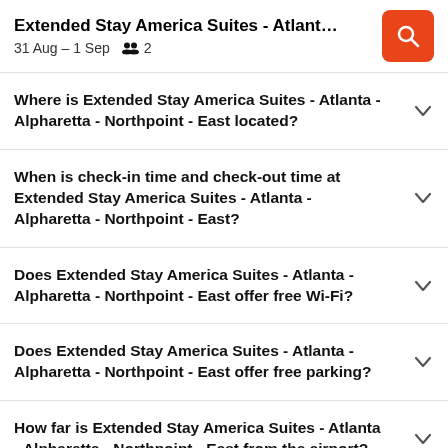Extended Stay America Suites - Atlanta - Alp... | 31 Aug – 1 Sep | 2 guests
Where is Extended Stay America Suites - Atlanta - Alpharetta - Northpoint - East located?
When is check-in time and check-out time at Extended Stay America Suites - Atlanta - Alpharetta - Northpoint - East?
Does Extended Stay America Suites - Atlanta - Alpharetta - Northpoint - East offer free Wi-Fi?
Does Extended Stay America Suites - Atlanta - Alpharetta - Northpoint - East offer free parking?
How far is Extended Stay America Suites - Atlanta - Alpharetta - Northpoint - East from the airport?